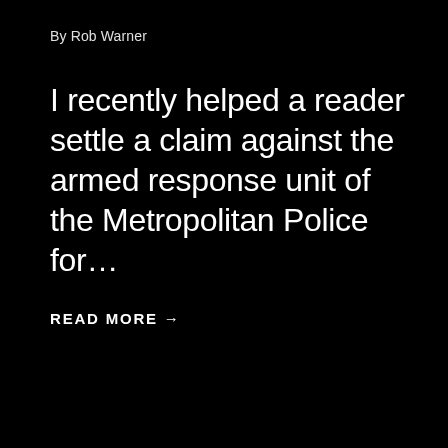By Rob Warner
I recently helped a reader settle a claim against the armed response unit of the Metropolitan Police for…
READ MORE →